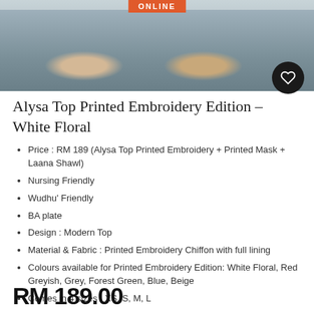[Figure (photo): Banner image showing feet/shoes with 'ONLINE' label at top, and a heart wishlist button in the bottom-right corner.]
Alysa Top Printed Embroidery Edition – White Floral
Price : RM 189 (Alysa Top Printed Embroidery + Printed Mask + Laana Shawl)
Nursing Friendly
Wudhu' Friendly
BA plate
Design : Modern Top
Material & Fabric : Printed Embroidery Chiffon with full lining
Colours available for Printed Embroidery Edition: White Floral, Red Greyish, Grey, Forest Green, Blue, Beige
Comes in 4 sizes : XS, S, M, L
RM 189.00